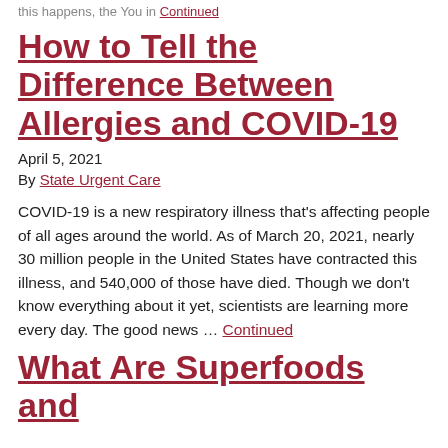this happens, the You in Continued
How to Tell the Difference Between Allergies and COVID-19
April 5, 2021
By State Urgent Care
COVID-19 is a new respiratory illness that's affecting people of all ages around the world. As of March 20, 2021, nearly 30 million people in the United States have contracted this illness, and 540,000 of those have died. Though we don't know everything about it yet, scientists are learning more every day. The good news … Continued
What Are Superfoods and